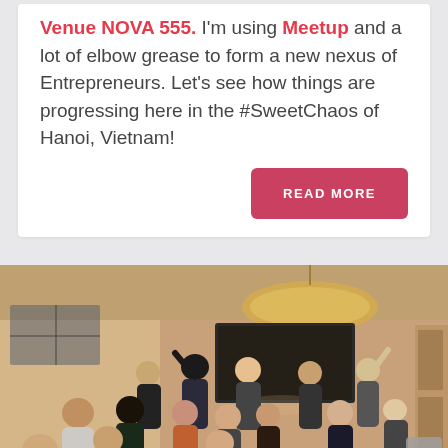Venue NOVA 555. I'm using Meetup and a lot of elbow grease to form a new nexus of Entrepreneurs. Let's see how things are progressing here in the #SweetChaos of Hanoi, Vietnam!
READ MORE
[Figure (photo): Group photo of approximately 20 people gathered indoors at what appears to be a networking event or meetup. A decorative woven pendant lamp hangs from the ceiling. A TV screen is visible on the wall in the background. People of diverse ethnicities are posing and smiling.]